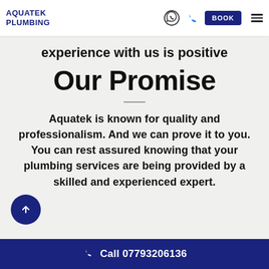AQUATEK PLUMBING
experience with us is positive
Our Promise
Aquatek is known for quality and professionalism. And we can prove it to you. You can rest assured knowing that your plumbing services are being provided by a skilled and experienced expert.
Call 07793206136